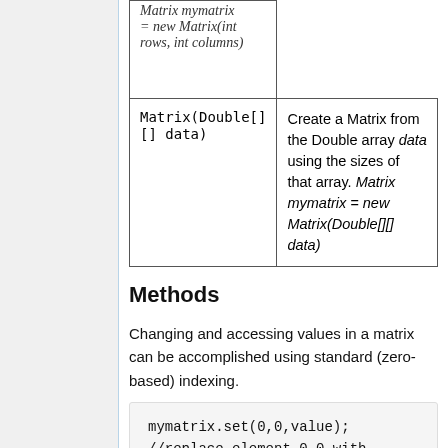| Constructor | Description |
| --- | --- |
| Matrix(int rows, int columns) | Matrix mymatrix = new Matrix(int rows, int columns) |
| Matrix(Double[][] data) | Create a Matrix from the Double array data using the sizes of that array. Matrix mymatrix = new Matrix(Double[][] data) |
Methods
Changing and accessing values in a matrix can be accomplished using standard (zero-based) indexing.
mymatrix.set(0,0,value);
//replace element 0,0 with